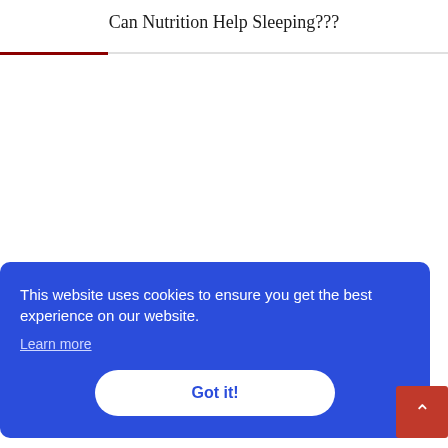Can Nutrition Help Sleeping???
This website uses cookies to ensure you get the best experience on our website.
Learn more
Got it!